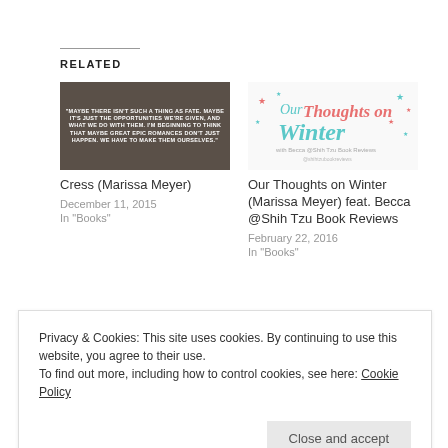RELATED
[Figure (illustration): Book quote image for Cress by Marissa Meyer with text about fate and opportunities]
Cress (Marissa Meyer)
December 11, 2015
In "Books"
[Figure (logo): Our Thoughts on Winter with Becca @Shih Tzu Book Reviews logo in teal and coral colors with stars]
Our Thoughts on Winter (Marissa Meyer) feat. Becca @Shih Tzu Book Reviews
February 22, 2016
In "Books"
Privacy & Cookies: This site uses cookies. By continuing to use this website, you agree to their use.
To find out more, including how to control cookies, see here: Cookie Policy
Close and accept
Winter (Marissa Meyer): 10